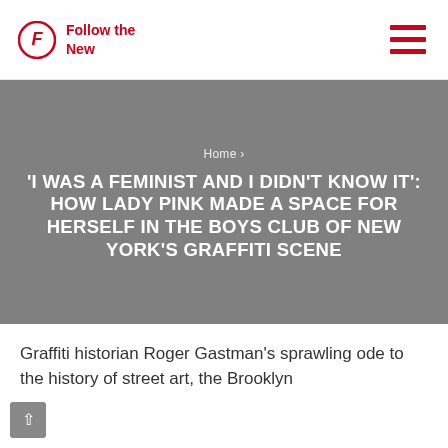Follow the New
'I WAS A FEMINIST AND I DIDN'T KNOW IT': HOW LADY PINK MADE A SPACE FOR HERSELF IN THE BOYS CLUB OF NEW YORK'S GRAFFITI SCENE
Home ›
Graffiti historian Roger Gastman's sprawling ode to the history of street art, the Brooklyn